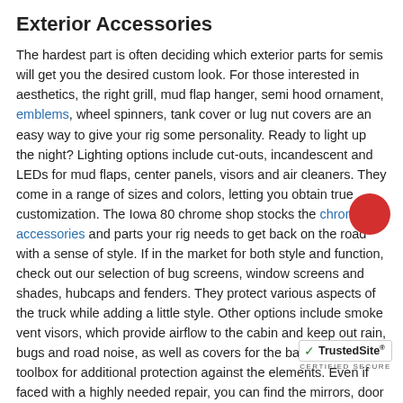Exterior Accessories
The hardest part is often deciding which exterior parts for semis will get you the desired custom look. For those interested in aesthetics, the right grill, mud flap hanger, semi hood ornament, emblems, wheel spinners, tank cover or lug nut covers are an easy way to give your rig some personality. Ready to light up the night? Lighting options include cut-outs, incandescent and LEDs for mud flaps, center panels, visors and air cleaners. They come in a range of sizes and colors, letting you obtain true customization. The Iowa 80 chrome shop stocks the chrome accessories and parts your rig needs to get back on the road with a sense of style. If in the market for both style and function, check out our selection of bug screens, window screens and shades, hubcaps and fenders. They protect various aspects of the truck while adding a little style. Other options include smoke vent visors, which provide airflow to the cabin and keep out rain, bugs and road noise, as well as covers for the battery and toolbox for additional protection against the elements. Even if faced with a highly needed repair, you can find the mirrors, door handles, bumpers and more to get your rig back to optimal operations.
Affordable Prices